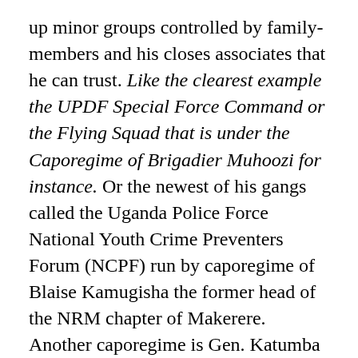up minor groups controlled by family-members and his closes associates that he can trust. Like the clearest example the UPDF Special Force Command or the Flying Squad that is under the Caporegime of Brigadier Muhoozi for instance. Or the newest of his gangs called the Uganda Police Force National Youth Crime Preventers Forum (NCPF) run by caporegime of Blaise Kamugisha the former head of the NRM chapter of Makerere. Another caporegime is Gen. Katumba Wamala who runs the UPDF for his Don. Not to forget the Capo for the Uganda Police Force IGP Kale Kayihura. All of these are just small pieces of the whole position in the racket of the Don Museveni!